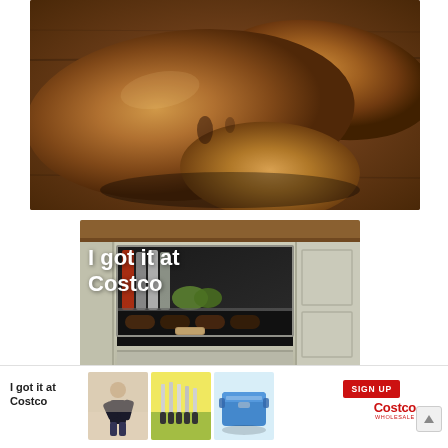[Figure (photo): Close-up photo of two large sweet potatoes on a rustic wooden table surface]
[Figure (photo): Advertisement image showing a built-in under-counter refrigerator/beverage center in a kitchen setting with text overlay 'I got it at Costco']
I got it at Costco
[Figure (photo): Small thumbnail showing a person gesturing]
[Figure (photo): Small thumbnail showing kitchen knives on a cutting board]
[Figure (photo): Small thumbnail showing a blue cooler]
SIGN UP
Costco WHOLESALE